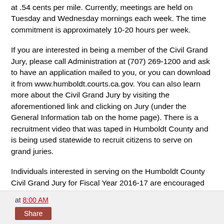at .54 cents per mile. Currently, meetings are held on Tuesday and Wednesday mornings each week. The time commitment is approximately 10-20 hours per week.
If you are interested in being a member of the Civil Grand Jury, please call Administration at (707) 269-1200 and ask to have an application mailed to you, or you can download it from www.humboldt.courts.ca.gov. You can also learn more about the Civil Grand Jury by visiting the aforementioned link and clicking on Jury (under the General Information tab on the home page). There is a recruitment video that was taped in Humboldt County and is being used statewide to recruit citizens to serve on grand juries.
Individuals interested in serving on the Humboldt County Civil Grand Jury for Fiscal Year 2016-17 are encouraged to submit an application by May 31, 2016 (deadline may be extended).
at 8:00 AM  Share